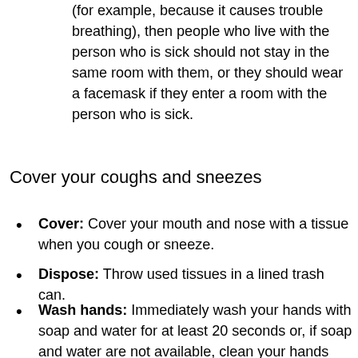who is sick is not able to wear a facemask (for example, because it causes trouble breathing), then people who live with the person who is sick should not stay in the same room with them, or they should wear a facemask if they enter a room with the person who is sick.
Cover your coughs and sneezes
Cover: Cover your mouth and nose with a tissue when you cough or sneeze.
Dispose: Throw used tissues in a lined trash can.
Wash hands: Immediately wash your hands with soap and water for at least 20 seconds or, if soap and water are not available, clean your hands with an